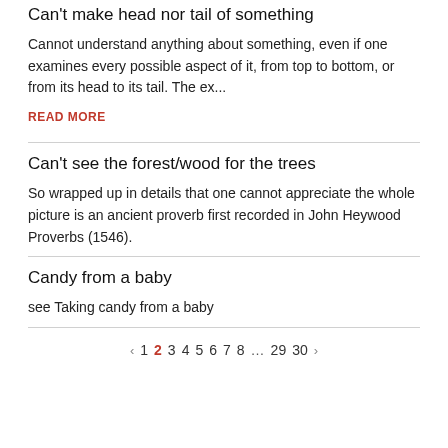Can't make head nor tail of something
Cannot understand anything about something, even if one examines every possible aspect of it, from top to bottom, or from its head to its tail. The ex...
READ MORE
Can't see the forest/wood for the trees
So wrapped up in details that one cannot appreciate the whole picture is an ancient proverb first recorded in John Heywood Proverbs (1546).
Candy from a baby
see Taking candy from a baby
‹ 1 2 3 4 5 6 7 8 … 29 30 ›